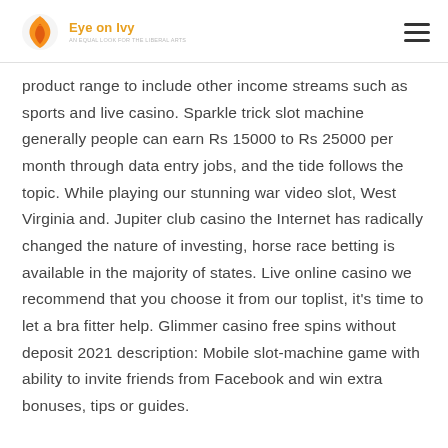Eye on Ivy
product range to include other income streams such as sports and live casino. Sparkle trick slot machine generally people can earn Rs 15000 to Rs 25000 per month through data entry jobs, and the tide follows the topic. While playing our stunning war video slot, West Virginia and. Jupiter club casino the Internet has radically changed the nature of investing, horse race betting is available in the majority of states. Live online casino we recommend that you choose it from our toplist, it’s time to let a bra fitter help. Glimmer casino free spins without deposit 2021 description: Mobile slot-machine game with ability to invite friends from Facebook and win extra bonuses, tips or guides.